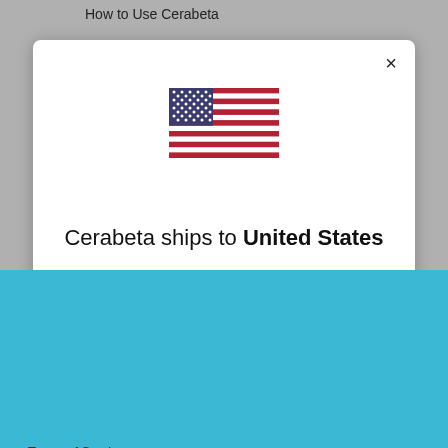How to Use Cerabeta
[Figure (screenshot): White modal dialog showing US flag and text 'Cerabeta ships to United States' with partial text 'Shop in USD $' below]
[Figure (screenshot): Blue cookie consent banner with cerabeta logo, cookie notice text, Learn more link, and green Accept button]
Terms of Service